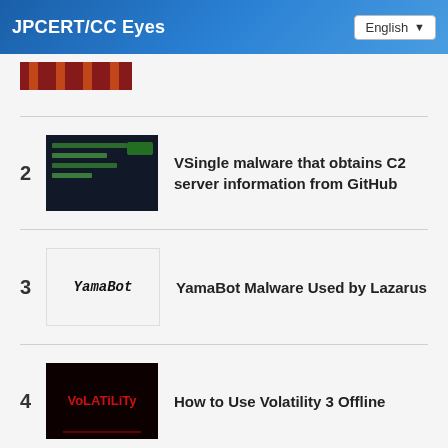JPCERT/CC Eyes
2 VSingle malware that obtains C2 server information from GitHub
3 YamaBot Malware Used by Lazarus
4 How to Use Volatility 3 Offline